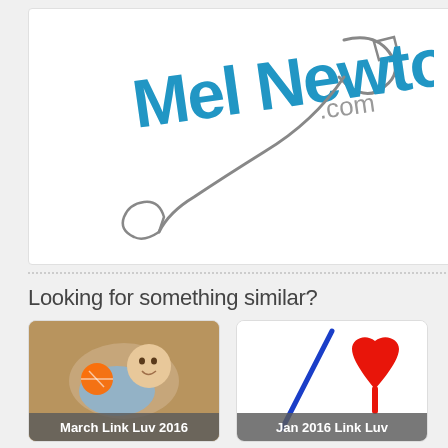[Figure (logo): MelNewton.com logo with blue cursive text and safety pin graphic]
Looking for something similar?
[Figure (photo): Baby lying on carpet holding orange ball toy, caption: March Link Luv 2016]
[Figure (illustration): White background with blue diagonal line and red hand-drawn heart, caption: Jan 2016 Link Luv]